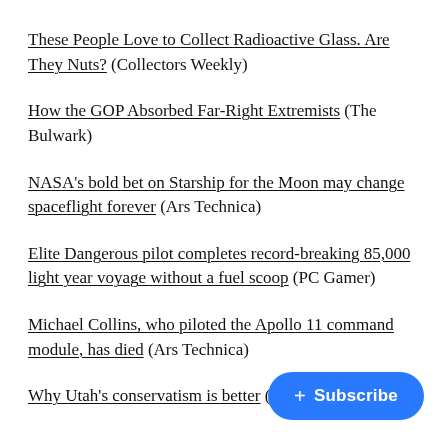These People Love to Collect Radioactive Glass. Are They Nuts? (Collectors Weekly)
How the GOP Absorbed Far-Right Extremists (The Bulwark)
NASA's bold bet on Starship for the Moon may change spaceflight forever (Ars Technica)
Elite Dangerous pilot completes record-breaking 85,000 light year voyage without a fuel scoop (PC Gamer)
Michael Collins, who piloted the Apollo 11 command module, has died (Ars Technica)
Why Utah's conservatism is better (Th…